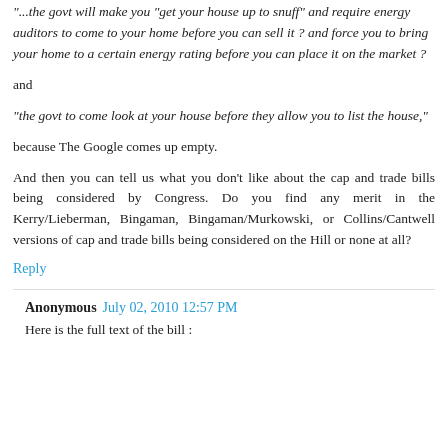"...the govt will make you  get your house up to snuff  and require energy auditors to come to your home before you can sell it ? and force you to bring your home to a certain energy rating before you can place it on the market ?
and
"the govt to come look at your house before they allow you to list the house,"
because The Google comes up empty.
And then you can tell us what you don't like about the cap and trade bills being considered by Congress. Do you find any merit in the Kerry/Lieberman, Bingaman, Bingaman/Murkowski, or Collins/Cantwell versions of cap and trade bills being considered on the Hill or none at all?
Reply
Anonymous July 02, 2010 12:57 PM
Here is the full text of the bill :